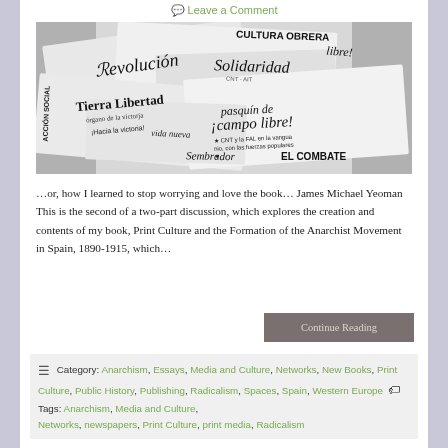Leave a Comment
[Figure (photo): Black and white photograph of overlapping Spanish anarchist newspapers including Revolución, Tierra y Libertad, Solidaridad, Campo Libre, El Combate, and others]
…or, how I learned to stop worrying and love the book… James Michael Yeoman This is the second of a two-part discussion, which explores the creation and contents of my book, Print Culture and the Formation of the Anarchist Movement in Spain, 1890-1915, which…
Continue Reading
Category: Anarchism, Essays, Media and Culture, Networks, New Books, Print Culture, Public History, Publishing, Radicalism, Spaces, Spain, Western Europe   Tags: Anarchism, Media and Culture, Networks, newspapers, Print Culture, print media, Radicalism